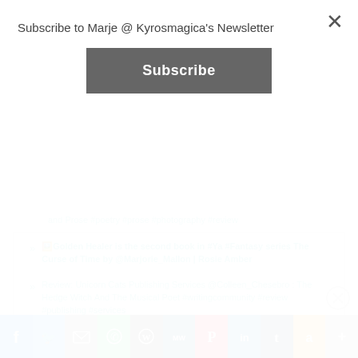Subscribe to Marje @ Kyrosmagica's Newsletter
Subscribe
🖼️Golden Healer is the second book in #Ya #Fantasy series The Curse of Time by @Marjorie_Mallon | Rosie Amber
Review: Unicorn Cats Publishing Services @Colleen_Chesebro : The Hedge Witch And The Musical Poet #writingcommunity #review #publishing #services
Advertisements